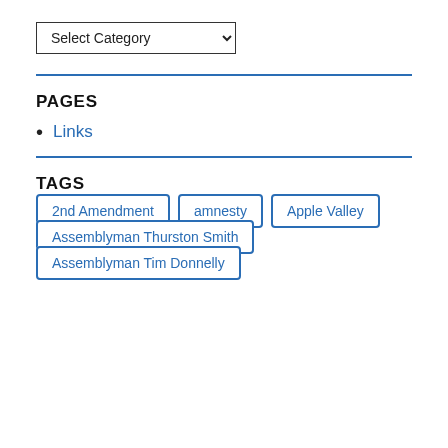Select Category
PAGES
Links
TAGS
2nd Amendment
amnesty
Apple Valley
Assemblyman Thurston Smith
Assemblyman Tim Donnelly